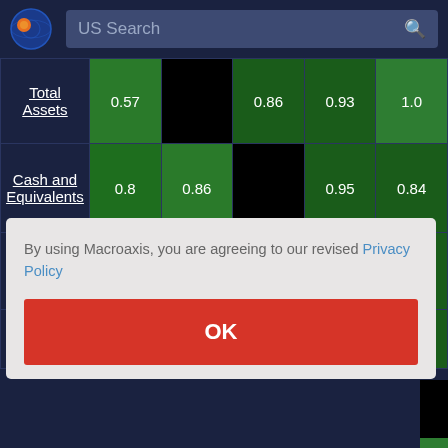[Figure (screenshot): Macroaxis website header with orange/blue globe logo and 'US Search' search bar]
|  | Col1 | Col2 | Col3 | Col4 | Col5 |
| --- | --- | --- | --- | --- | --- |
| Total Assets | 0.57 |  | 0.86 | 0.93 | 1.0 |
| Cash and Equivalents | 0.8 | 0.86 |  | 0.95 | 0.84 |
| Total Debt | 0.74 | 0.93 | 0.95 |  | 0.91 |
| and | 0.91 | 0.8 | 0.94 | 0.9 | 0.77 |
By using Macroaxis, you are agreeing to our revised Privacy Policy
OK